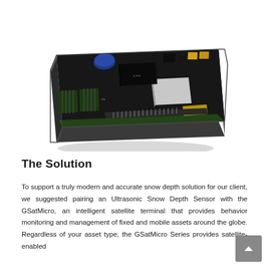[Figure (photo): Photo of a GSatMicro satellite terminal circuit board — a compact square PCB with various electronic components including a blue capacitor, yellow connector blocks, chips, and edge connectors, shown at an angle on a white background.]
The Solution
To support a truly modern and accurate snow depth solution for our client, we suggested pairing an Ultrasonic Snow Depth Sensor with the GSatMicro, an intelligent satellite terminal that provides behavior monitoring and management of fixed and mobile assets around the globe. Regardless of your asset type, the GSatMicro Series provides satellite-enabled